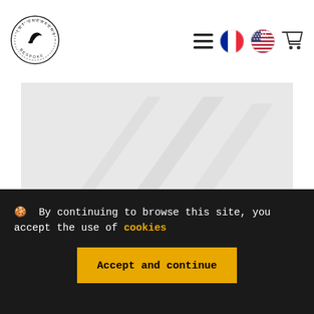[Figure (logo): LBT Sneakers Bespoke circular logo with bird silhouette]
[Figure (screenshot): Navigation icons: hamburger menu, French flag, US flag, shopping cart]
[Figure (photo): Hero/banner image showing a light grey background with faint sneaker silhouette]
🍪  By continuing to browse this site, you accept the use of cookies
Accept and continue